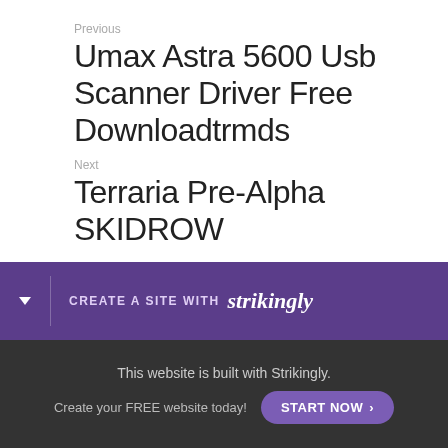Previous
Umax Astra 5600 Usb Scanner Driver Free Downloadtrmds
Next
Terraria Pre-Alpha SKIDROW
< Return to site
Powered by Strikingly
[Figure (infographic): Purple banner: CREATE A SITE WITH strikingly]
This website is built with Strikingly. Create your FREE website today! START NOW >